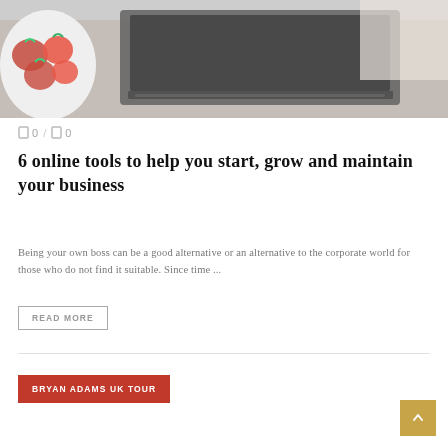[Figure (photo): Top portion of a blog post card showing a laptop on a desk with a bowl of strawberries in the upper-left corner, photographed from above.]
0 / 0
6 online tools to help you start, grow and maintain your business
Being your own boss can be a good alternative or an alternative to the corporate world for those who do not find it suitable. Since time ...
READ MORE
BRYAN ADAMS UK TOUR